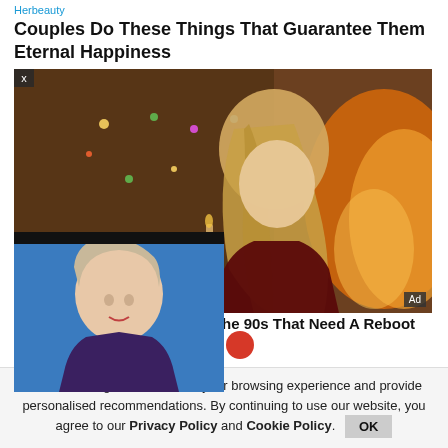Herbeauty
Couples Do These Things That Guarantee Them Eternal Happiness
[Figure (photo): A young blonde woman holding a candle against a warm firelit background with Christmas lights]
[Figure (photo): Popup advertisement showing a portrait photo of a middle-aged woman with short blonde hair against a blue background]
he 90s That Need A Reboot
nilar technologies, to enhance your browsing experience and provide personalised recommendations. By continuing to use our website, you agree to our Privacy Policy and Cookie Policy.